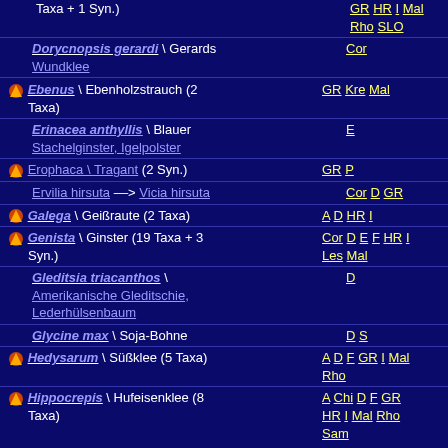Taxa + 1 Syn.)  GR HR I Mal Rho SLO
Dorycnopsis gerardi \ Gerards Wundklee  Cor
Ebenus \ Ebenholzstrauch (2 Taxa)  GR Kre Mal
Erinacea anthyllis \ Blauer Stachelginster, Igelpolster  E
Erophaca \ Tragant (2 Syn.)  GR P
Ervilia hirsuta --> Vicia hirsuta  Cor D GR
Galega \ Geißraute (2 Taxa)  A D HR I
Genista \ Ginster (19 Taxa + 3 Syn.)  Cor D E F HR I Les Mal
Gleditsia triacanthos \ Amerikanische Gleditschie, Lederhülsenbaum  D
Glycine max \ Soja-Bohne  D S
Hedysarum \ Süßklee (5 Taxa)  A D F GR I Mal Rho
Hippocrepis \ Hufeisenklee (8 Taxa)  A Chi D F GR HR I Mal Rho Sam